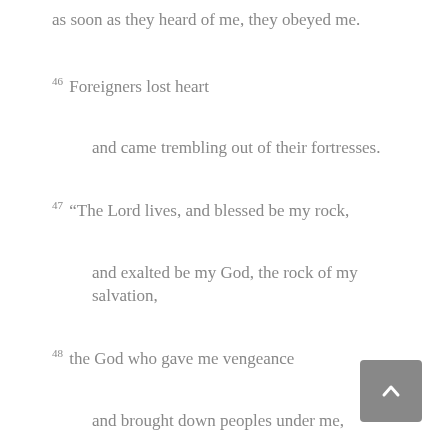as soon as they heard of me, they obeyed me.
46 Foreigners lost heart
and came trembling out of their fortresses.
47 “The Lord lives, and blessed be my rock,
and exalted be my God, the rock of my salvation,
48 the God who gave me vengeance
and brought down peoples under me,
49 who brought me out from my enemies;